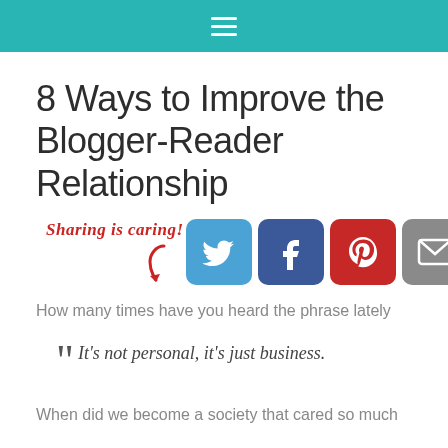≡
8 Ways to Improve the Blogger-Reader Relationship
[Figure (infographic): Sharing is caring! social share buttons: Twitter (blue), Facebook (dark blue), Pinterest (red), Email (gray), and a green share button, with a red arrow pointing to them]
How many times have you heard the phrase lately
It's not personal, it's just business.
When did we become a society that cared so much